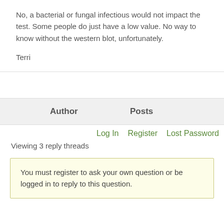No, a bacterial or fungal infectious would not impact the test. Some people do just have a low value. No way to know without the western blot, unfortunately.

Terri
| Author | Posts |
| --- | --- |
Log In   Register   Lost Password
Viewing 3 reply threads
You must register to ask your own question or be logged in to reply to this question.